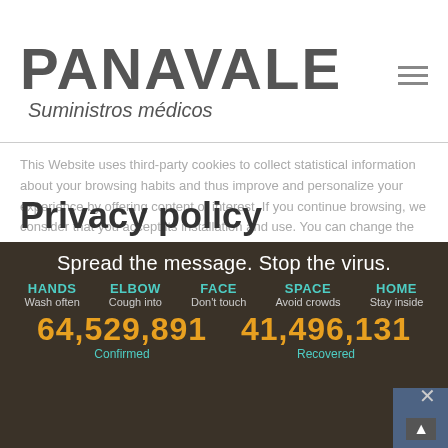PANAVALE
Suministros médicos
This Website uses third-party cookies to collect statistical information about your browsing habits and thus improve and personalize your experience by offering content of interest. If you continue browsing, we consider that you accept its installation and use. You can change the settings to get more information at Cookies Policy
Privacy policy
Data Privacy Policy
Spread the message. Stop the virus.
HANDS Wash often  ELBOW Cough into  FACE Don't touch  SPACE Avoid crowds  HOME Stay inside
64,529,891 Confirmed
41,496,131 Recovered